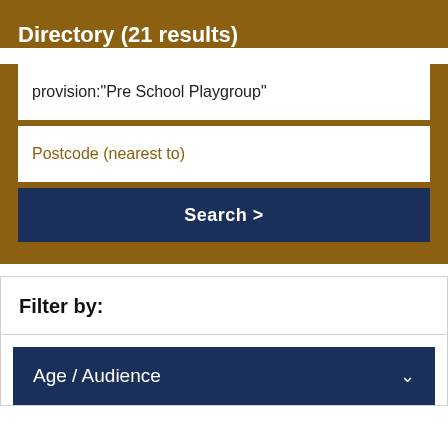Directory (21 results)
provision:"Pre School Playgroup"
Postcode (nearest to)
Search >
Filter by:
Age / Audience